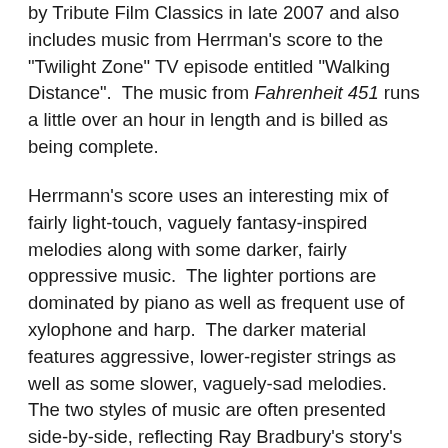by Tribute Film Classics in late 2007 and also includes music from Herrman's score to the "Twilight Zone" TV episode entitled "Walking Distance".  The music from Fahrenheit 451 runs a little over an hour in length and is billed as being complete.
Herrmann's score uses an interesting mix of fairly light-touch, vaguely fantasy-inspired melodies along with some darker, fairly oppressive music.  The lighter portions are dominated by piano as well as frequent use of xylophone and harp.  The darker material features aggressive, lower-register strings as well as some slower, vaguely-sad melodies.  The two styles of music are often presented side-by-side, reflecting Ray Bradbury's story's depiction of a society that is characterized by a surface happiness masking an underlying oppression.